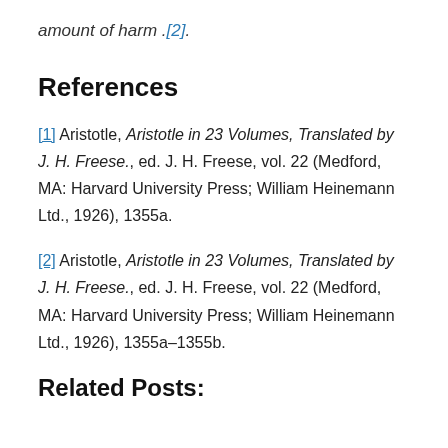amount of harm .[2].
References
[1] Aristotle, Aristotle in 23 Volumes, Translated by J. H. Freese., ed. J. H. Freese, vol. 22 (Medford, MA: Harvard University Press; William Heinemann Ltd., 1926), 1355a.
[2] Aristotle, Aristotle in 23 Volumes, Translated by J. H. Freese., ed. J. H. Freese, vol. 22 (Medford, MA: Harvard University Press; William Heinemann Ltd., 1926), 1355a–1355b.
Related Posts: